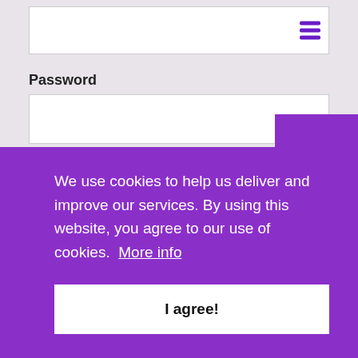[Figure (screenshot): Input text field at top of login form with hamburger menu icon (three purple horizontal bars) on the right side]
Password
[Figure (screenshot): Password input text field, empty]
Remember Me
Log In   Register
We use cookies to help us deliver and improve our services. By using this website, you agree to our use of cookies.  More info
I agree!